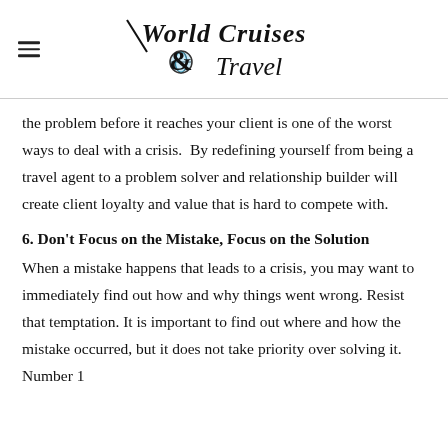World Cruises & Travel
the problem before it reaches your client is one of the worst ways to deal with a crisis.  By redefining yourself from being a travel agent to a problem solver and relationship builder will create client loyalty and value that is hard to compete with.
6. Don't Focus on the Mistake, Focus on the Solution
When a mistake happens that leads to a crisis, you may want to immediately find out how and why things went wrong. Resist that temptation. It is important to find out where and how the mistake occurred, but it does not take priority over solving it.  Number 1